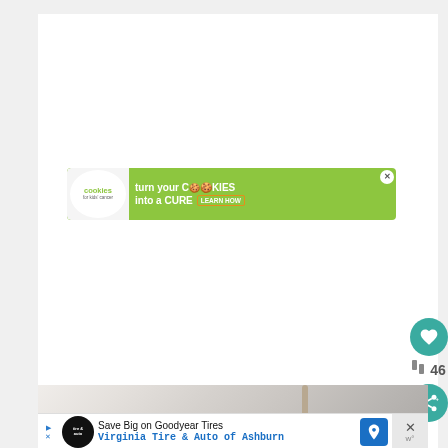[Figure (screenshot): Cookies for Kids Cancer advertisement banner. Green background with circular logo on left reading 'cookies for kids cancer', and text 'turn your COOKIES into a CURE LEARN HOW'. Close button (X) in top right corner.]
[Figure (photo): Partial photo visible at bottom of page, appears to be a light-colored bowl or kitchen item on a surface.]
[Figure (screenshot): Goodyear Tires advertisement banner at bottom. Shows 'Save Big on Goodyear Tires' and 'Virginia Tire & Auto of Ashburn' with navigation icon, Tire & Auto circular logo, and close button (X) on right side.]